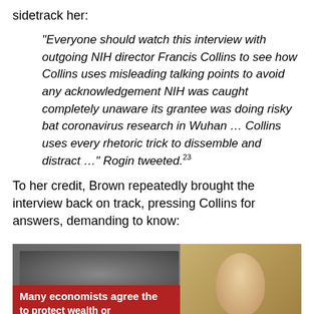sidetrack her:
“Everyone should watch this interview with outgoing NIH director Francis Collins to see how Collins uses misleading talking points to avoid any acknowledgement NIH was caught completely unaware its grantee was doing risky bat coronavirus research in Wuhan … Collins uses every rhetoric trick to dissemble and distract …” Rogin tweeted.23
To her credit, Brown repeatedly brought the interview back on track, pressing Collins for answers, demanding to know:
[Figure (screenshot): A screenshot showing a red banner overlay on what appears to be a news graphic with text 'Many economists agree the [way] to protect wealth or' in white bold text on a red background, with a partial image of an elderly person on the right side against a gold/yellow background.]